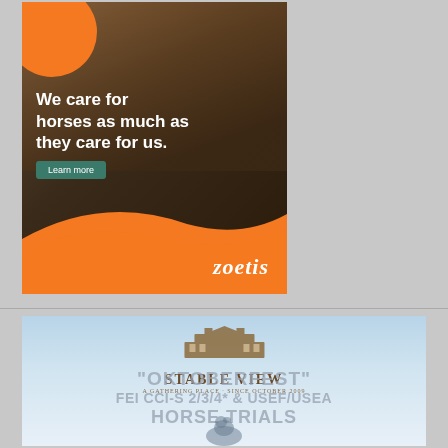[Figure (photo): Zoetis advertisement showing a woman in a green vest and red shirt tending to a dark horse. Orange branding with white text reads 'We care for horses as much as they care for us.' with a 'Learn more' button and the Zoetis logo in italic white at bottom right.]
[Figure (photo): Stable View 'Oktoberfest' event advertisement with a light blue gradient background, Stable View logo at top center, large pale gray text reading '"OKTOBERFEST" FEI CCI-S 2/3/4* & USEF/USEA HORSE TRIALS' and a horse head silhouette at bottom center.]